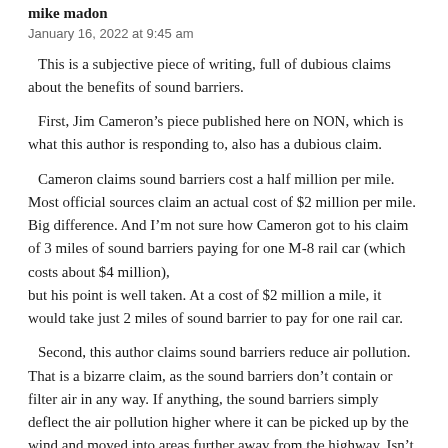mike madon
January 16, 2022 at 9:45 am
This is a subjective piece of writing, full of dubious claims about the benefits of sound barriers.
First, Jim Cameron’s piece published here on NON, which is what this author is responding to, also has a dubious claim.
Cameron claims sound barriers cost a half million per mile. Most official sources claim an actual cost of $2 million per mile. Big difference. And I’m not sure how Cameron got to his claim of 3 miles of sound barriers paying for one M-8 rail car (which costs about $4 million),
but his point is well taken. At a cost of $2 million a mile, it would take just 2 miles of sound barrier to pay for one rail car.
Second, this author claims sound barriers reduce air pollution. That is a bizarre claim, as the sound barriers don’t contain or filter air in any way. If anything, the sound barriers simply deflect the air pollution higher where it can be picked up by the wind and moved into areas further away from the highway. Isn’t that pushing the problem onto others? Seems